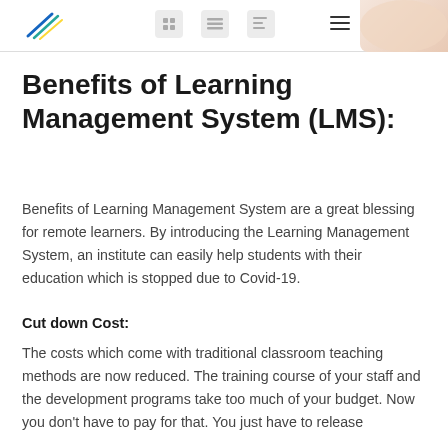[Logo and navigation header]
Benefits of Learning Management System (LMS):
Benefits of Learning Management System are a great blessing for remote learners. By introducing the Learning Management System, an institute can easily help students with their education which is stopped due to Covid-19.
Cut down Cost:
The costs which come with traditional classroom teaching methods are now reduced. The training course of your staff and the development programs take too much of your budget. Now you don't have to pay for that. You just have to release